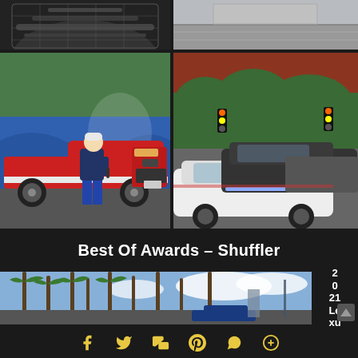[Figure (photo): Partial cropped view of a dark car grille/front end at top left]
[Figure (photo): Partial cropped view of a street/pavement scene at top right]
[Figure (photo): Man standing next to a red and white Ford F-150 Lightning electric truck in front of a blue mural]
[Figure (photo): Parking lot with a white classic car in foreground and dark SUV behind it, red brick building in background]
Best Of Awards – Shuffler
[Figure (photo): Wide shot of palm trees against blue sky with a car passing below, outdoor California-style scene]
2
0
21
Le
xu
Social sharing icons: Facebook, Twitter, Share, Pinterest, WhatsApp, Plus